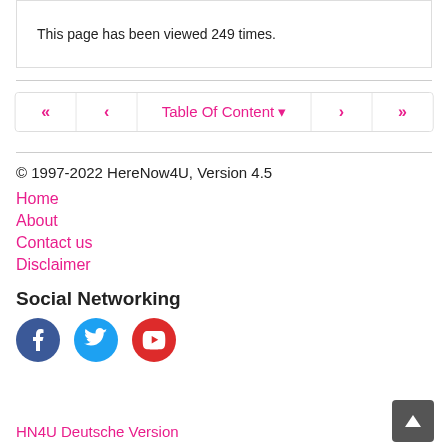This page has been viewed 249 times.
« < Table Of Content ▾ > »
© 1997-2022 HereNow4U, Version 4.5
Home
About
Contact us
Disclaimer
Social Networking
[Figure (illustration): Social networking icons: Facebook (dark blue circle), Twitter (light blue circle), YouTube (red circle)]
HN4U Deutsche Version